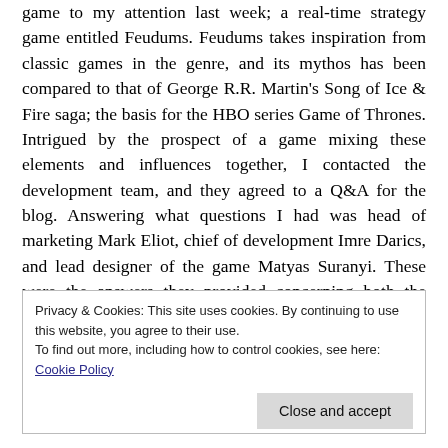game to my attention last week; a real-time strategy game entitled Feudums. Feudums takes inspiration from classic games in the genre, and its mythos has been compared to that of George R.R. Martin's Song of Ice & Fire saga; the basis for the HBO series Game of Thrones. Intrigued by the prospect of a game mixing these elements and influences together, I contacted the development team, and they agreed to a Q&A for the blog. Answering what questions I had was head of marketing Mark Eliot, chief of development Imre Darics, and lead designer of the game Matyas Suranyi. These were the answers they provided concerning both the game and its development cycle:
Privacy & Cookies: This site uses cookies. By continuing to use this website, you agree to their use.
To find out more, including how to control cookies, see here: Cookie Policy
Close and accept